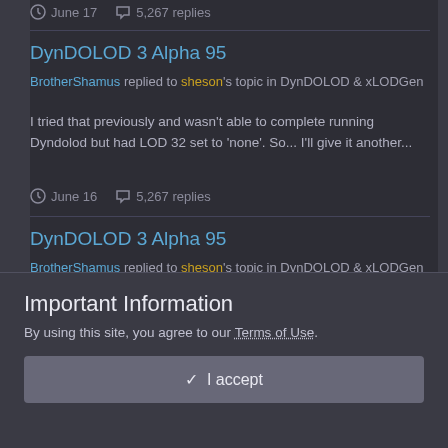June 17  5,267 replies
DynDOLOD 3 Alpha 95
BrotherShamus replied to sheson's topic in DynDOLOD & xLODGen
I tried that previously and wasn't able to complete running Dyndolod but had LOD 32 set to 'none'. So... I'll give it another...
June 16  5,267 replies
DynDOLOD 3 Alpha 95
BrotherShamus replied to sheson's topic in DynDOLOD & xLODGen
Important Information
By using this site, you agree to our Terms of Use.
✓  I accept